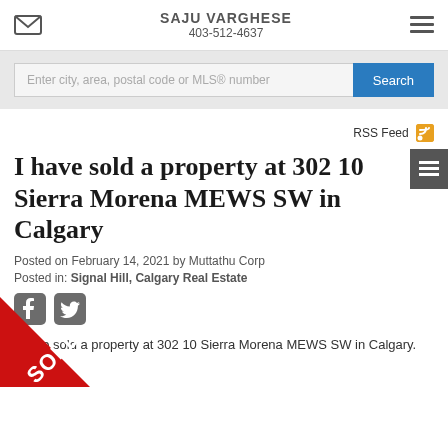SAJU VARGHESE
403-512-4637
Enter city, area, postal code or MLS® number
RSS Feed
I have sold a property at 302 10 Sierra Morena MEWS SW in Calgary
Posted on February 14, 2021 by Muttathu Corp
Posted in: Signal Hill, Calgary Real Estate
I have sold a property at 302 10 Sierra Morena MEWS SW in Calgary.